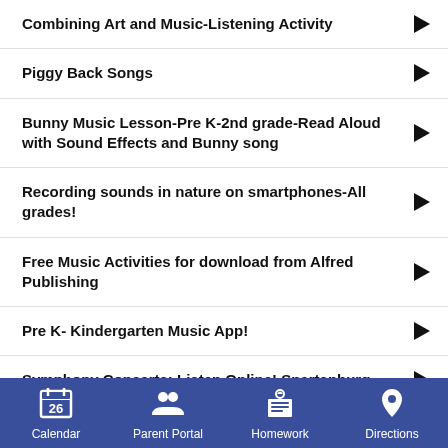Combining Art and Music-Listening Activity
Piggy Back Songs
Bunny Music Lesson-Pre K-2nd grade-Read Aloud with Sound Effects and Bunny song
Recording sounds in nature on smartphones-All grades!
Free Music Activities for download from Alfred Publishing
Pre K- Kindergarten Music App!
Symphony Concerts: Listen Online! Spartanburg
Calendar  Parent Portal  Homework  Directions